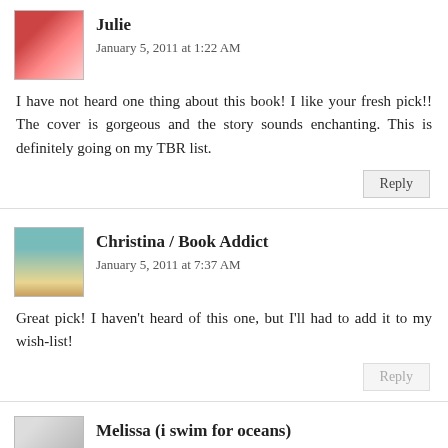Julie
January 5, 2011 at 1:22 AM
I have not heard one thing about this book! I like your fresh pick!! The cover is gorgeous and the story sounds enchanting. This is definitely going on my TBR list.
Reply
Christina / Book Addict
January 5, 2011 at 7:37 AM
Great pick! I haven't heard of this one, but I'll had to add it to my wish-list!
Reply
Melissa (i swim for oceans)